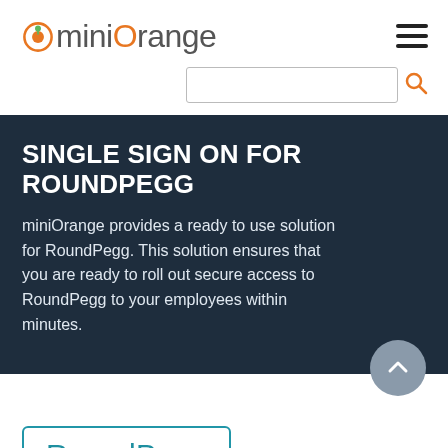miniOrange
SINGLE SIGN ON FOR ROUNDPEGG
miniOrange provides a ready to use solution for RoundPegg. This solution ensures that you are ready to roll out secure access to RoundPegg to your employees within minutes.
[Figure (logo): RoundPegg logo badge with teal border and teal text]